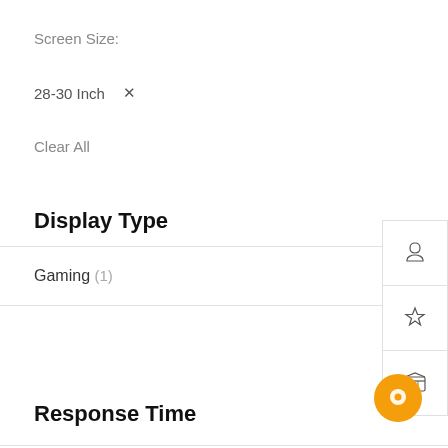Screen Size:
28-30 Inch  ×
Clear All
Display Type
Gaming (1)
Response Time
1-4 ms (1)